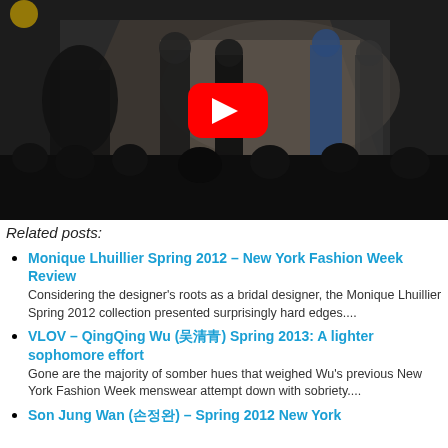[Figure (screenshot): YouTube video thumbnail showing a fashion runway show with models walking and audience seated, with a red YouTube play button overlay in the center]
Related posts:
Monique Lhuillier Spring 2012 – New York Fashion Week Review
Considering the designer's roots as a bridal designer, the Monique Lhuillier Spring 2012 collection presented surprisingly hard edges....
VLOV – QingQing Wu (吴清青) Spring 2013: A lighter sophomore effort
Gone are the majority of somber hues that weighed Wu's previous New York Fashion Week menswear attempt down with sobriety....
Son Jung Wan (손정완) – Spring 2012 New York